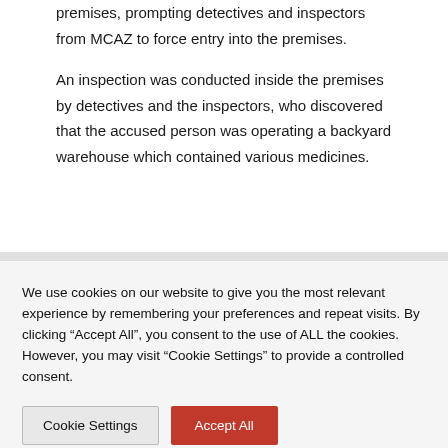premises, prompting detectives and inspectors from MCAZ to force entry into the premises.
An inspection was conducted inside the premises by detectives and the inspectors, who discovered that the accused person was operating a backyard warehouse which contained various medicines.
We use cookies on our website to give you the most relevant experience by remembering your preferences and repeat visits. By clicking “Accept All”, you consent to the use of ALL the cookies. However, you may visit "Cookie Settings" to provide a controlled consent.